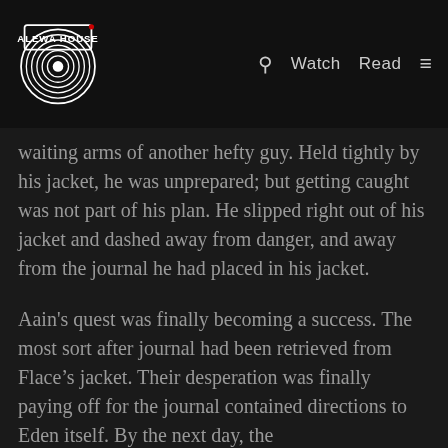ALEWA HOUSE | Watch | Read
waiting arms of another hefty guy. Held tightly by his jacket, he was unprepared; but getting caught was not part of his plan. He slipped right out of his jacket and dashed away from danger, and away from the journal he had placed in his jacket.
Aain's quest was finally becoming a success. The most sort after journal had been retrieved from Flace’s jacket. Their desperation was finally paying off for the journal contained directions to Eden itself. By the next day, the